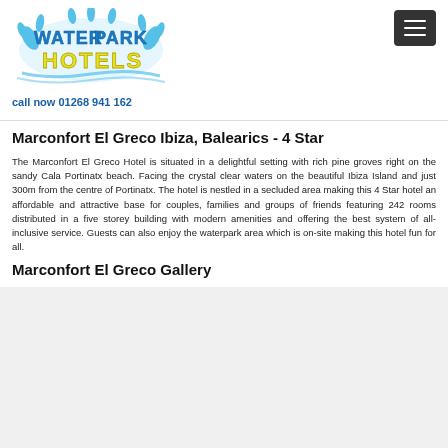[Figure (logo): Water Park Hotels logo with blue water splash design and yellow 'HOTELS' text]
call now 01268 941 162
Marconfort El Greco Ibiza, Balearics - 4 Star
The Marconfort El Greco Hotel is situated in a delightful setting with rich pine groves right on the sandy Cala Portinatx beach. Facing the crystal clear waters on the beautiful Ibiza Island and just 300m from the centre of Portinatx. The hotel is nestled in a secluded area making this 4 Star hotel an affordable and attractive base for couples, families and groups of friends featuring 242 rooms distributed in a five storey building with modern amenities and offering the best system of all-inclusive service. Guests can also enjoy the waterpark area which is on-site making this hotel fun for all.
Marconfort El Greco Gallery